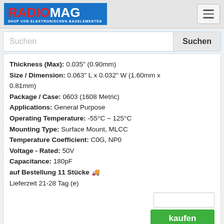RADIOMAG - SHOP VON ELEKTRONISCHEN BAUELEMENTEN
Suchen
Thickness (Max): 0.035" (0.90mm)
Size / Dimension: 0.063" L x 0.032" W (1.60mm x 0.81mm)
Package / Case: 0603 (1608 Metric)
Applications: General Purpose
Operating Temperature: -55°C ~ 125°C
Mounting Type: Surface Mount, MLCC
Temperature Coefficient: C0G, NP0
Voltage - Rated: 50V
Capacitance: 180pF
auf Bestellung 11 Stücke
Lieferzeit 21-28 Tag (e)
kaufen
06035A5R0KA12A
[Figure (photo): Close-up photo of a small SMD capacitor component, silver/metallic color on white background]